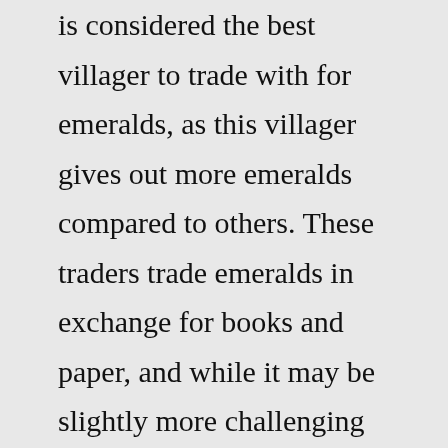is considered the best villager to trade with for emeralds, as this villager gives out more emeralds compared to others. These traders trade emeralds in exchange for books and paper, and while it may be slightly more challenging to acquire these items to trade, it will definitely be worth your while.With that clarified, let's take a look at the best Minecraft villager trades. Most trades can only be done a set amount of times before the villager runs out of stock. The villager